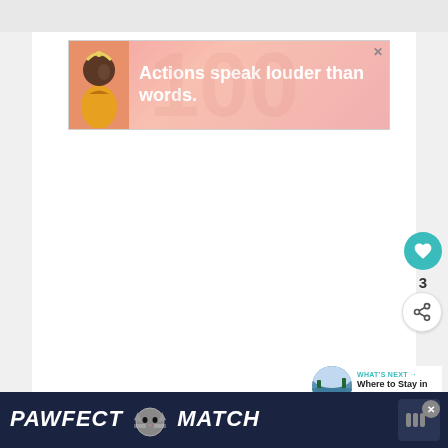[Figure (illustration): Advertisement banner with pink/salmon gradient background. Shows a stylized illustration of a person in a yellow outfit on the left, with decorative swirl patterns. Text reads 'Actions speak louder than words.' in white bold font. Has a close (X) button in top right corner.]
[Figure (infographic): Floating action button (heart/like) in teal circle on the right side of the page.]
3
[Figure (infographic): Floating share button (share icon) in white circle with border on the right side.]
[Figure (infographic): "WHAT'S NEXT" content card in bottom right showing a circular thumbnail image of a scenic location (Nagoya) and text 'Where to Stay in Nagoya,...' with a teal arrow label.]
[Figure (illustration): Bottom advertisement bar with dark navy background showing 'PAWFECT MATCH' in large white italic bold text with a cat face graphic between the words. Has a close button and a brand icon on the right side.]